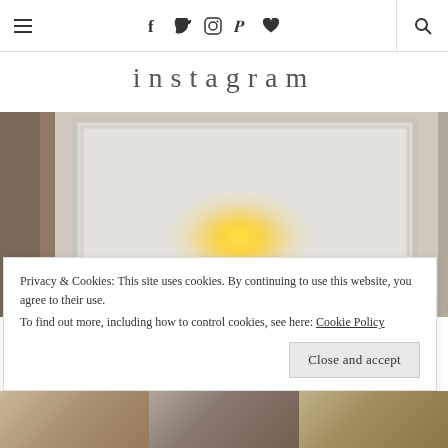≡  f  twitter  instagram  pinterest  ♥  🔍
instagram
[Figure (photo): Interior room photo showing a white-framed wall panel with a warm glowing light source, set against a stone or plaster wall with earth-tone colors]
Privacy & Cookies: This site uses cookies. By continuing to use this website, you agree to their use.
To find out more, including how to control cookies, see here: Cookie Policy
Close and accept